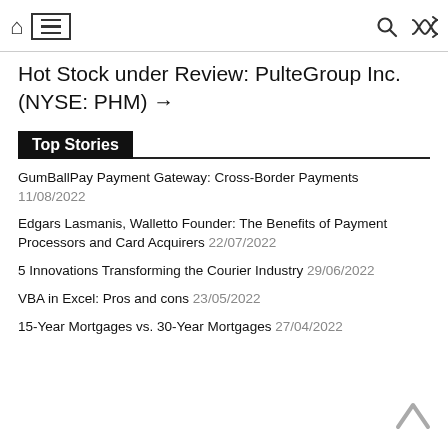Navigation bar with home, menu, search, shuffle icons
Hot Stock under Review: PulteGroup Inc. (NYSE: PHM) →
Top Stories
GumBallPay Payment Gateway: Cross-Border Payments 11/08/2022
Edgars Lasmanis, Walletto Founder: The Benefits of Payment Processors and Card Acquirers 22/07/2022
5 Innovations Transforming the Courier Industry 29/06/2022
VBA in Excel: Pros and cons 23/05/2022
15-Year Mortgages vs. 30-Year Mortgages 27/04/2022